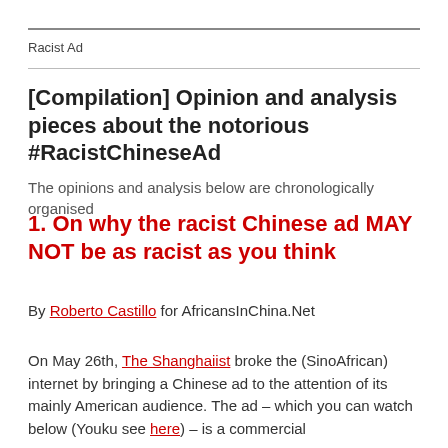Racist Ad
[Compilation] Opinion and analysis pieces about the notorious #RacistChineseAd
The opinions and analysis below are chronologically organised
1. On why the racist Chinese ad MAY NOT be as racist as you think
By Roberto Castillo for AfricansInChina.Net
On May 26th, The Shanghaiist broke the (SinoAfrican) internet by bringing a Chinese ad to the attention of its mainly American audience. The ad – which you can watch below (Youku see here) – is a commercial